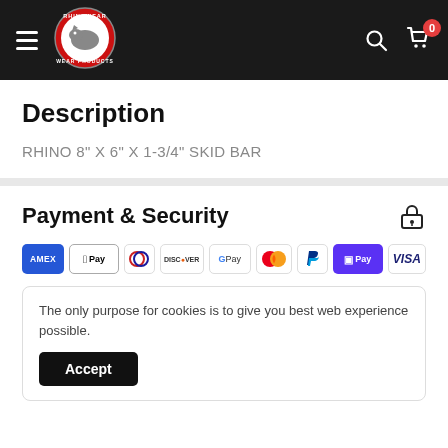[Figure (logo): RhinoWear Wear Products logo in circular badge with rhino illustration, red and white]
Description
RHINO 8" X 6" X 1-3/4" SKID BAR
Payment & Security
[Figure (infographic): Payment method icons: Amex, Apple Pay, Diners Club, Discover, Google Pay, Mastercard, PayPal, Shop Pay, Visa]
The only purpose for cookies is to give you best web experience possible.